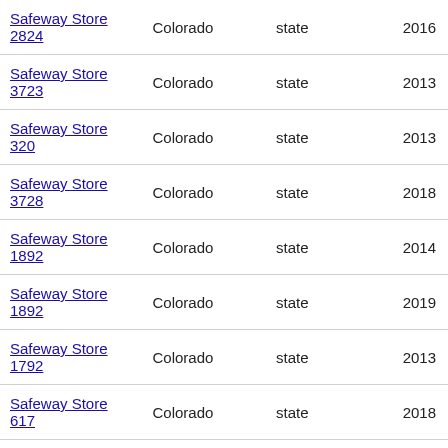| Safeway Store 2824 | Colorado | state | 2016 |
| Safeway Store 3723 | Colorado | state | 2013 |
| Safeway Store 320 | Colorado | state | 2013 |
| Safeway Store 3728 | Colorado | state | 2018 |
| Safeway Store 1892 | Colorado | state | 2014 |
| Safeway Store 1892 | Colorado | state | 2019 |
| Safeway Store 1792 | Colorado | state | 2013 |
| Safeway Store 617 | Colorado | state | 2018 |
| Safeway Store 1071 | Colorado | state | 2014 |